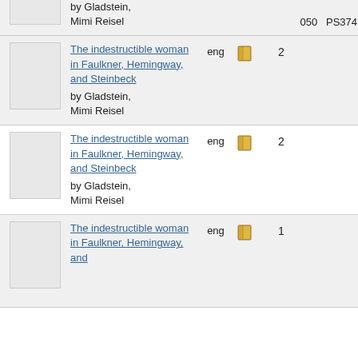by Gladstein, Mimi Reisel | 050 | PS374
The indestructible woman in Faulkner, Hemingway, and Steinbeck | by Gladstein, Mimi Reisel | eng | 2
The indestructible woman in Faulkner, Hemingway, and Steinbeck | by Gladstein, Mimi Reisel | eng | 2
The indestructible woman in Faulkner, Hemingway, and Steinbeck | by Gladstein, Mimi Reisel | eng | 1